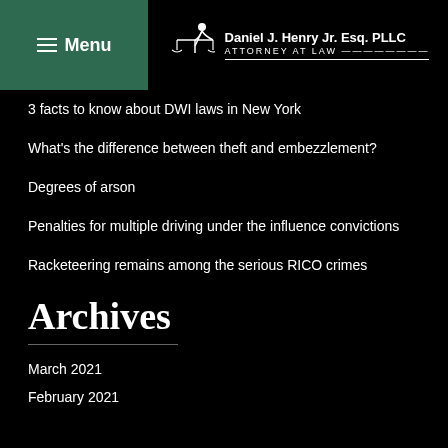Menu | Daniel J. Henry Jr. Esq. PLLC ATTORNEY AT LAW
3 facts to know about DWI laws in New York
What's the difference between theft and embezzlement?
Degrees of arson
Penalties for multiple driving under the influence convictions
Racketeering remains among the serious RICO crimes
Archives
March 2021
February 2021